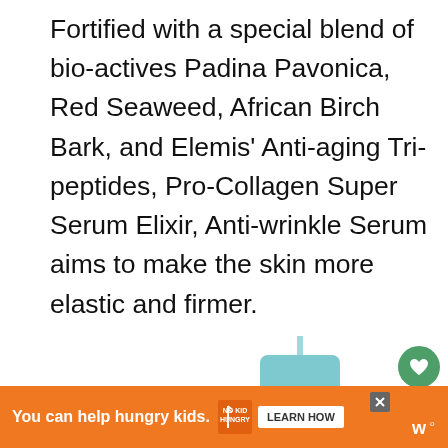Fortified with a special blend of bio-actives Padina Pavonica, Red Seaweed, African Birch Bark, and Elemis' Anti-aging Tri-peptides, Pro-Collagen Super Serum Elixir, Anti-wrinkle Serum aims to make the skin more elastic and firmer.
[Figure (photo): Elemis Pro-Collagen Super Serum Elixir product bottle in aqua/teal color with silver pump dispenser, shown against white background. UI overlay elements: heart/like button (green circle), share button, 'What's Next' panel showing 'Is Elemis Skincare...' with a gold product thumbnail.]
[Figure (infographic): Orange advertisement banner at the bottom: 'You can help hungry kids.' with No Kid Hungry fork logo icon, and a 'LEARN HOW' white button. Close X button and a menu icon visible.]